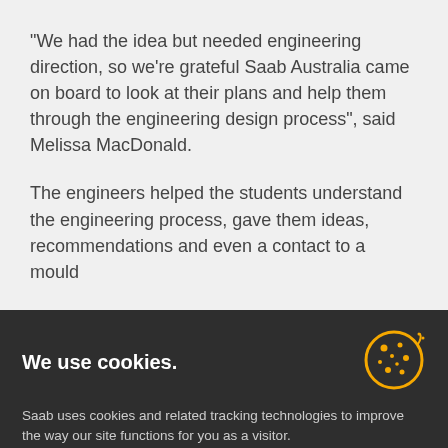“We had the idea but needed engineering direction, so we’re grateful Saab Australia came on board to look at their plans and help them through the engineering design process”, said Melissa MacDonald.
The engineers helped the students understand the engineering process, gave them ideas, recommendations and even a contact to a mould
We use cookies.
Saab uses cookies and related tracking technologies to improve the way our site functions for you as a visitor.
Allow selection | Allow all cookies
Necessary  Preferences  Statistics  Marketing  Show details